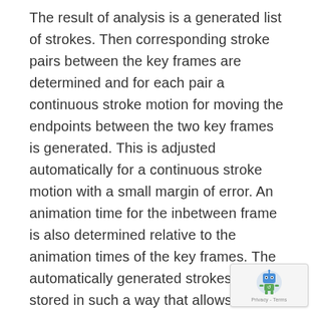The result of analysis is a generated list of strokes. Then corresponding stroke pairs between the key frames are determined and for each pair a continuous stroke motion for moving the endpoints between the two key frames is generated. This is adjusted automatically for a continuous stroke motion with a small margin of error. An animation time for the inbetween frame is also determined relative to the animation times of the key frames. The automatically generated strokes are stored in such a way that allows them to be edited later electronically. The ‘277 patent is one of many “quality of life” improvements that computers have provided animators
[Figure (logo): reCAPTCHA badge with blue/green robot icon and Privacy - Terms text]